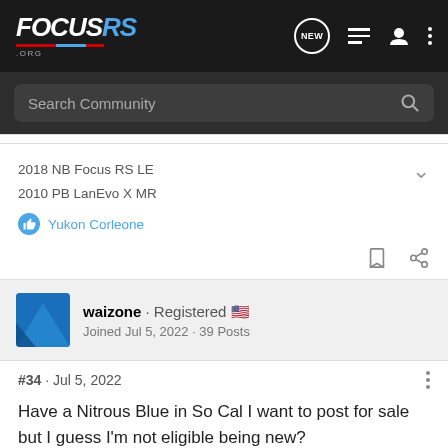FOCUSRS.ORG
Search Community
2018 NB Focus RS LE
2010 PB LanEvo X MR
Yukon Corleone
waizone · Registered
Joined Jul 5, 2022 · 39 Posts
#34 · Jul 5, 2022
Have a Nitrous Blue in So Cal I want to post for sale but I guess I'm not eligible being new?